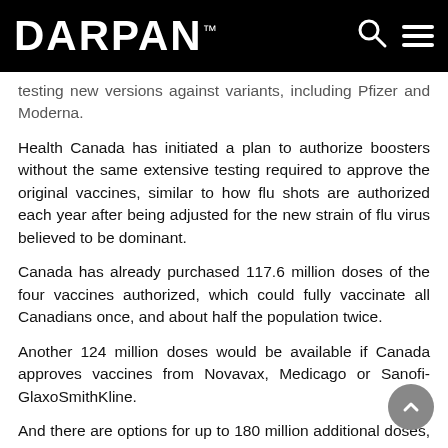DARPAN™
testing new versions against variants, including Pfizer and Moderna.
Health Canada has initiated a plan to authorize boosters without the same extensive testing required to approve the original vaccines, similar to how flu shots are authorized each year after being adjusted for the new strain of flu virus believed to be dominant.
Canada has already purchased 117.6 million doses of the four vaccines authorized, which could fully vaccinate all Canadians once, and about half the population twice.
Another 124 million doses would be available if Canada approves vaccines from Novavax, Medicago or Sanofi-GlaxoSmithKline.
And there are options for up to 180 million additional doses, though some of those have already expired.
Anand said getting booster shots isn't as simple as just extending existing contracts.
"In some cases, we are amending contracts, in other cases, we are negotiating additional contracts," she said. "So it is very intense at the current time in terms of planning for the